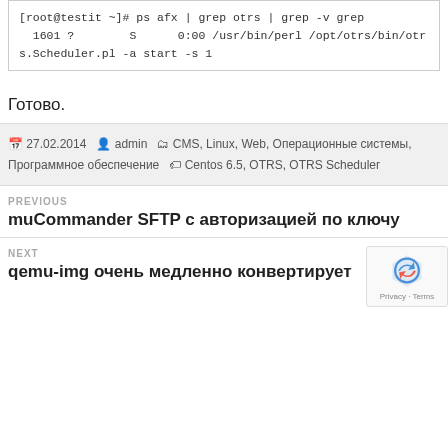[root@testit ~]# ps afx | grep otrs | grep -v grep
  1601 ?        S      0:00 /usr/bin/perl /opt/otrs/bin/otrs.Scheduler.pl -a start -s 1
Готово.
27.02.2014  admin  CMS, Linux, Web, Операционные системы, Программное обеспечение  Centos 6.5, OTRS, OTRS Scheduler
PREVIOUS
muCommander SFTP с авторизацией по ключу
NEXT
qemu-img очень медленно конвертирует